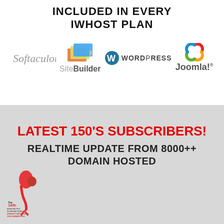INCLUDED IN EVERY IWHOST PLAN
[Figure (logo): Softaculous logo in italic script font]
[Figure (logo): SiteBuilder logo with stacked card icon]
[Figure (logo): WordPress logo with W icon and bold text]
[Figure (logo): Joomla! logo with colorful swirl icon]
LATEST 150'S SUBSCRIBERS! REALTIME UPDATE FROM 8000++ DOMAIN HOSTED
[Figure (logo): The 16th Asia Pacific International Honesty Enterprise Gold Award 2016 badge]